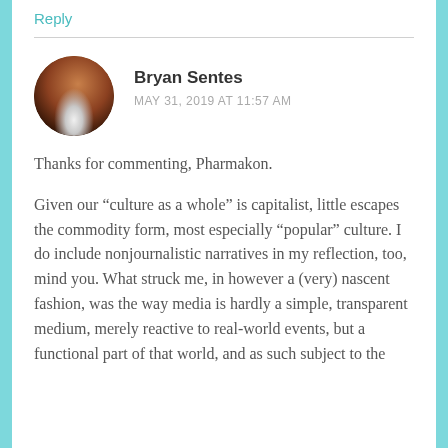Reply
[Figure (photo): Circular avatar photo of Bryan Sentes, showing a person with a bright light source behind them creating a silhouette/backlit effect with warm brown tones]
Bryan Sentes
MAY 31, 2019 AT 11:57 AM
Thanks for commenting, Pharmakon.
Given our “culture as a whole” is capitalist, little escapes the commodity form, most especially “popular” culture. I do include nonjournalistic narratives in my reflection, too, mind you. What struck me, in however a (very) nascent fashion, was the way media is hardly a simple, transparent medium, merely reactive to real-world events, but a functional part of that world, and as such subject to the